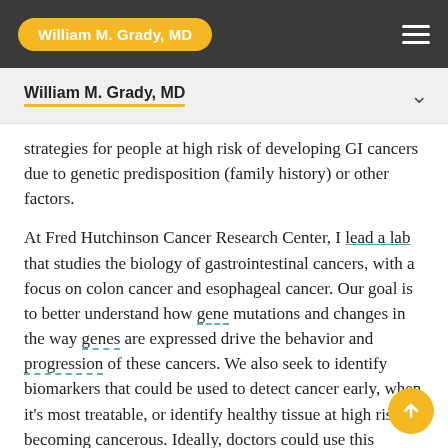William M. Grady, MD
William M. Grady, MD
strategies for people at high risk of developing GI cancers due to genetic predisposition (family history) or other factors.
At Fred Hutchinson Cancer Research Center, I lead a lab that studies the biology of gastrointestinal cancers, with a focus on colon cancer and esophageal cancer. Our goal is to better understand how gene mutations and changes in the way genes are expressed drive the behavior and progression of these cancers. We also seek to identify biomarkers that could be used to detect cancer early, when it’s most treatable, or identify healthy tissue at high risk of becoming cancerous. Ideally, doctors could use this information to tailor prevention tests and therapies. My colleagues and I are currently leading several clinical trials for people at high risk of developing hereditary cancers.